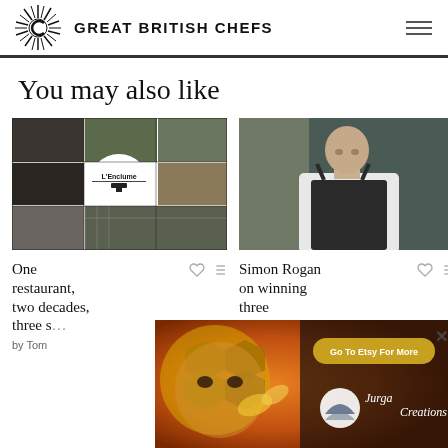GREAT BRITISH CHEFS
You may also like
[Figure (photo): Mosaic collage of L'Enclume restaurant — greenhouse, garden, plated dishes, exterior, with L'Enclume logo circle in center]
One restaurant, two decades, three s... the sto...
by Tom
[Figure (photo): Portrait photo of chef Simon Rogan in dark apron against stone wall background]
Simon Rogan on winning three
[Figure (illustration): Etsy advertisement banner featuring colorful bee/honeycomb artwork by Jurga Creations with 'Go To Etsy For More' button]